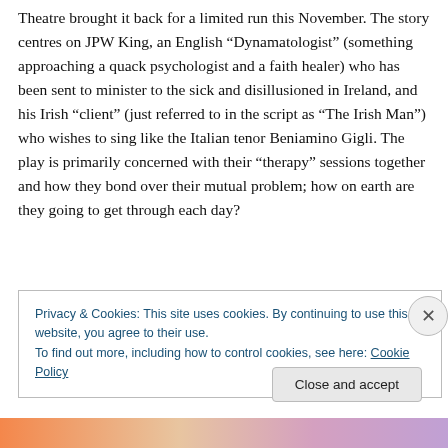Theatre brought it back for a limited run this November. The story centres on JPW King, an English “Dynamatologist” (something approaching a quack psychologist and a faith healer) who has been sent to minister to the sick and disillusioned in Ireland, and his Irish “client” (just referred to in the script as “The Irish Man”) who wishes to sing like the Italian tenor Beniamino Gigli. The play is primarily concerned with their “therapy” sessions together and how they bond over their mutual problem; how on earth are they going to get through each day?
Privacy & Cookies: This site uses cookies. By continuing to use this website, you agree to their use.
To find out more, including how to control cookies, see here: Cookie Policy
Close and accept